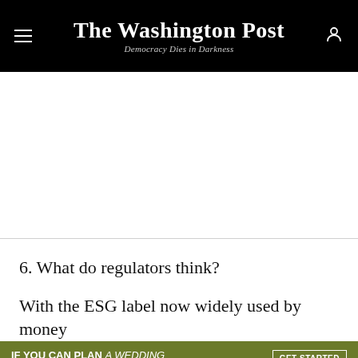The Washington Post — Democracy Dies in Darkness
6. What do regulators think?
With the ESG label now widely used by money
[Figure (infographic): Green advertisement banner: IF YOU CAN PLAN A WEDDING YOU CAN PLAN FOR A NATURAL DISASTER — GET STARTED button, Ready checkmark logo, FEMA logo, ad marker]